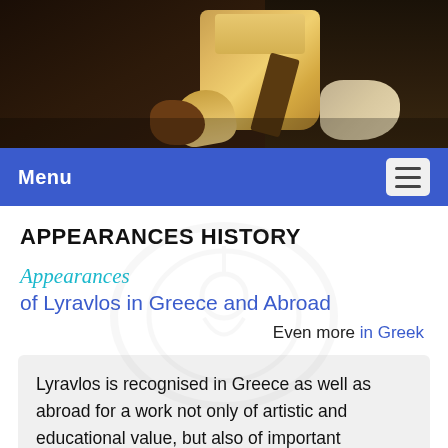[Figure (photo): Musicians holding ancient Greek string instruments (lyres) against a dark background, hands visible holding wooden instruments]
Menu
APPEARANCES HISTORY
Appearances of Lyravlos in Greece and Abroad
Even more in Greek
Lyravlos is recognised in Greece as well as abroad for a work not only of artistic and educational value, but also of important accomplishments in original research.